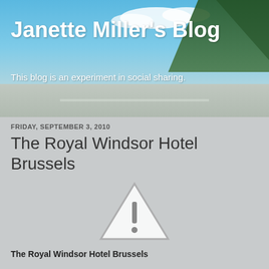[Figure (photo): Blog header banner with sky, clouds, road, and trees background image]
Janette Miller's Blog
This blog is an experiment in social sharing.
FRIDAY, SEPTEMBER 3, 2010
The Royal Windsor Hotel Brussels
[Figure (other): Warning/broken image placeholder icon — triangle with exclamation mark]
The Royal Windsor Hotel Brussels